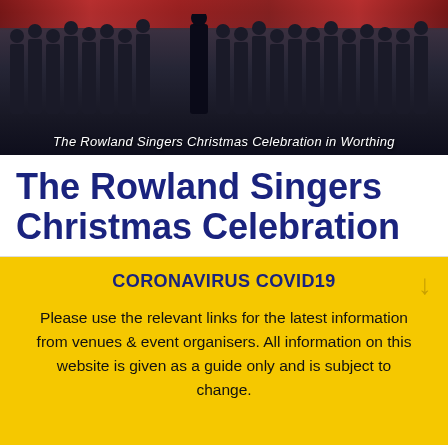[Figure (photo): Group photo of The Rowland Singers choir performing on stage, wearing formal attire including red and black, with conductor visible at front]
The Rowland Singers Christmas Celebration in Worthing
The Rowland Singers Christmas Celebration
CORONAVIRUS COVID19
Please use the relevant links for the latest information from venues & event organisers. All information on this website is given as a guide only and is subject to change.